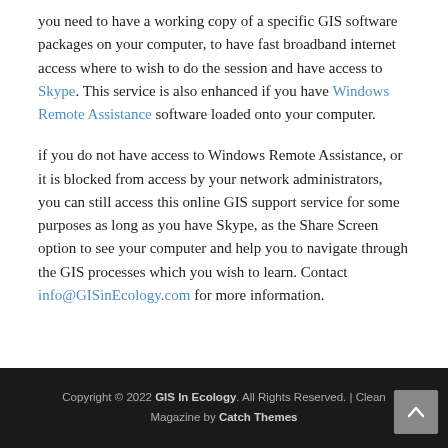you need to have a working copy of a specific GIS software packages on your computer, to have fast broadband internet access where to wish to do the session and have access to Skype. This service is also enhanced if you have Windows Remote Assistance software loaded onto your computer.
if you do not have access to Windows Remote Assistance, or it is blocked from access by your network administrators, you can still access this online GIS support service for some purposes as long as you have Skype, as the Share Screen option to see your computer and help you to navigate through the GIS processes which you wish to learn. Contact info@GISinEcology.com for more information.
Copyright © 2022 GIS In Ecology. All Rights Reserved. | Clean Magazine by Catch Themes